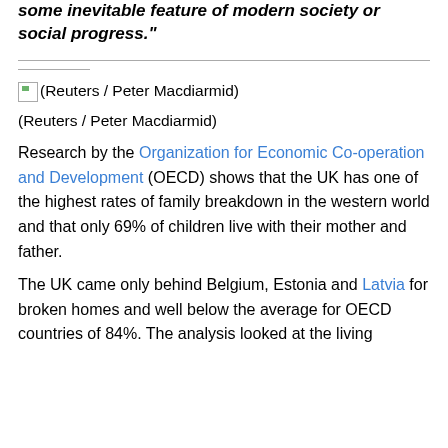some inevitable feature of modern society or social progress."
[Figure (photo): Broken image placeholder with caption: (Reuters / Peter Macdiarmid)]
(Reuters / Peter Macdiarmid)
Research by the Organization for Economic Co-operation and Development (OECD) shows that the UK has one of the highest rates of family breakdown in the western world and that only 69% of children live with their mother and father.
The UK came only behind Belgium, Estonia and Latvia for broken homes and well below the average for OECD countries of 84%. The analysis looked at the living